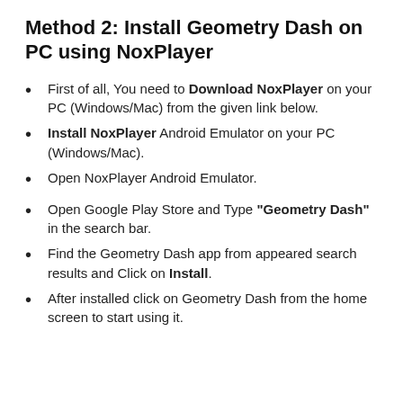Method 2: Install Geometry Dash on PC using NoxPlayer
First of all, You need to Download NoxPlayer on your PC (Windows/Mac) from the given link below.
Install NoxPlayer Android Emulator on your PC (Windows/Mac).
Open NoxPlayer Android Emulator.
Open Google Play Store and Type "Geometry Dash" in the search bar.
Find the Geometry Dash app from appeared search results and Click on Install.
After installed click on Geometry Dash from the home screen to start using it.